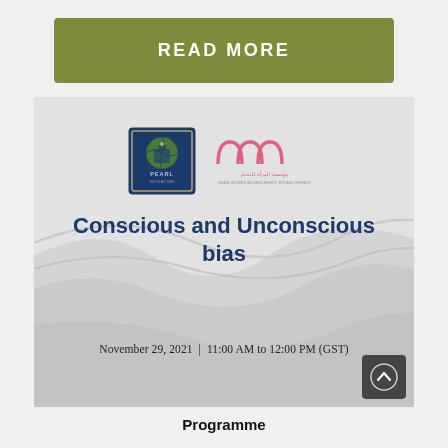READ MORE
[Figure (illustration): Event promotional card for 'Conscious and Unconscious bias' webinar hosted by Pearl Initiative and Nama Women Advancement Establishment, with logos, decorative wave background, event title, and date/time: November 29, 2021 | 11:00 AM to 12:00 PM (GST)]
Programme